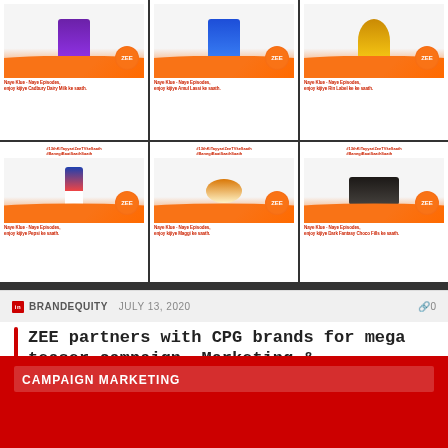[Figure (photo): A 2x3 grid of promotional ad cards for ZEE TV partnership with CPG brands, showing various products like Cadbury, Amul, Rin, Pepsi, Maggi, and Dark Fantasy with ZEE TV logos and hashtags #13thKiTayyariZeeTVkeSaath #BanegiBaatSaathSaath]
BRANDEQUITY    JULY 13, 2020    0
ZEE partners with CPG brands for mega teaser campaign, Marketing & Advertising News, AND BrandEquity
It has been rolled out to all media and to all of Zee's partners with...
CAMPAIGN MARKETING